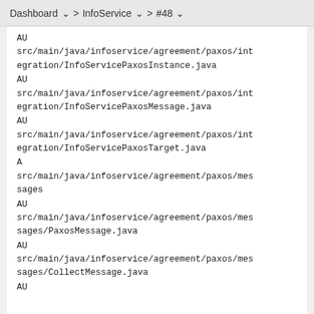Dashboard > InfoService > #48
AU
src/main/java/infoservice/agreement/paxos/integration/InfoServicePaxosInstance.java
AU
src/main/java/infoservice/agreement/paxos/integration/InfoServicePaxosMessage.java
AU
src/main/java/infoservice/agreement/paxos/integration/InfoServicePaxosTarget.java
A
src/main/java/infoservice/agreement/paxos/messages
AU
src/main/java/infoservice/agreement/paxos/messages/PaxosMessage.java
AU
src/main/java/infoservice/agreement/paxos/messages/CollectMessage.java
AU